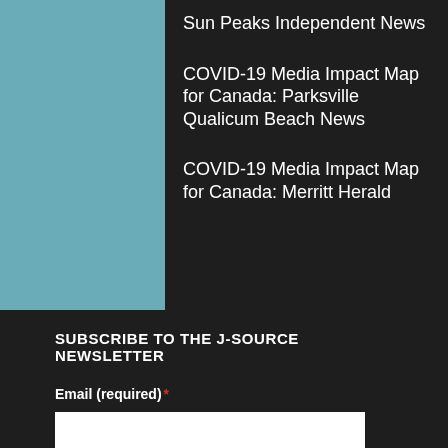Sun Peaks Independent News
COVID-19 Media Impact Map for Canada: Parksville Qualicum Beach News
COVID-19 Media Impact Map for Canada: Merritt Herald
SUBSCRIBE TO THE J-SOURCE NEWSLETTER
Email (required) *
Yes, I would like to receive emails from J-Source. (You can unsubscribe anytime)